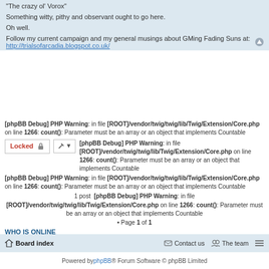"The crazy ol' Vorox"
Something witty, pithy and observant ought to go here.
Oh well.
Follow my current campaign and my general musings about GMing Fading Suns at: http://trialsofarcadia.blogspot.co.uk/
[phpBB Debug] PHP Warning: in file [ROOT]/vendor/twig/twig/lib/Twig/Extension/Core.php on line 1266: count(): Parameter must be an array or an object that implements Countable
[phpBB Debug] PHP Warning: in file [ROOT]/vendor/twig/twig/lib/Twig/Extension/Core.php on line 1266: count(): Parameter must be an array or an object that implements Countable
[phpBB Debug] PHP Warning: in file [ROOT]/vendor/twig/twig/lib/Twig/Extension/Core.php on line 1266: count(): Parameter must be an array or an object that implements Countable
1 post [phpBB Debug] PHP Warning: in file [ROOT]/vendor/twig/twig/lib/Twig/Extension/Core.php on line 1266: count(): Parameter must be an array or an object that implements Countable • Page 1 of 1
WHO IS ONLINE
Users browsing this forum: No registered users and 1 guest
Board index  Contact us  The team
Powered by phpBB® Forum Software © phpBB Limited